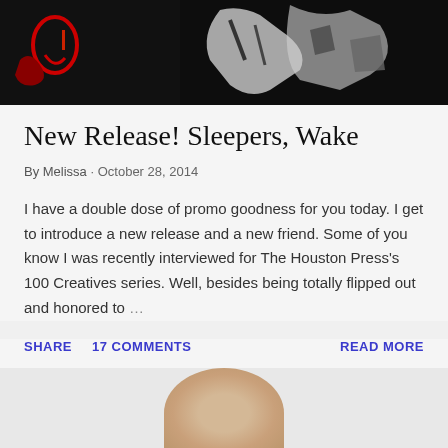[Figure (photo): Black and white high-contrast image, appears to be album or book cover art with dark background and abstract figures]
New Release! Sleepers, Wake
By Melissa · October 28, 2014
I have a double dose of promo goodness for you today. I get to introduce a new release and a new friend. Some of you know I was recently interviewed for The Houston Press's 100 Creatives series. Well, besides being totally flipped out and honored to ...
SHARE   17 COMMENTS   READ MORE
[Figure (photo): Partial circular portrait photo visible at bottom of page]